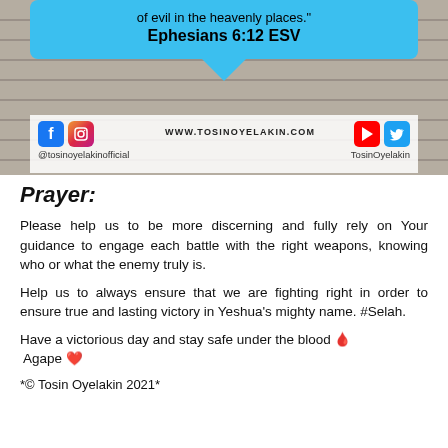[Figure (infographic): Social media banner with speech bubble showing Bible verse 'of evil in the heavenly places.' Ephesians 6:12 ESV on blue background, with social media icons and handles for Tosin Oyelakin]
Prayer:
Please help us to be more discerning and fully rely on Your guidance to engage each battle with the right weapons, knowing who or what the enemy truly is.
Help us to always ensure that we are fighting right in order to ensure true and lasting victory in Yeshua's mighty name. #Selah.
Have a victorious day and stay safe under the blood 🩸 Agape ❤️
*© Tosin Oyelakin 2021*